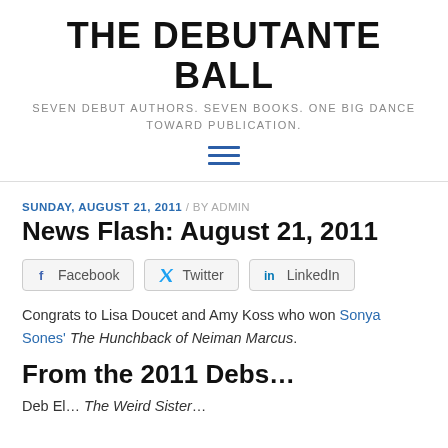THE DEBUTANTE BALL
SEVEN DEBUT AUTHORS. SEVEN BOOKS. ONE BIG DANCE TOWARD PUBLICATION.
SUNDAY, AUGUST 21, 2011 / BY ADMIN
News Flash: August 21, 2011
[Figure (other): Social share buttons: Facebook, Twitter, LinkedIn]
Congrats to Lisa Doucet and Amy Koss who won Sonya Sones' The Hunchback of Neiman Marcus.
From the 2011 Debs…
Deb El...  The Weird Sister...